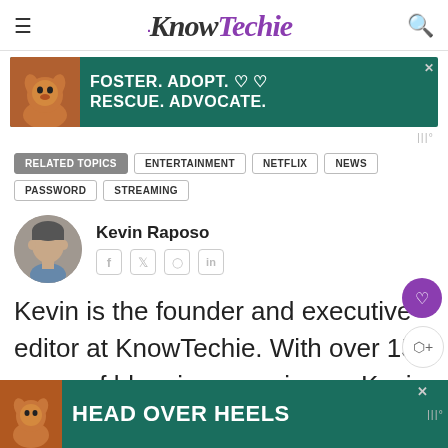KnowTechie
[Figure (photo): Ad banner: Foster. Adopt. Rescue. Advocate. with dog photo on green background]
RELATED TOPICS   ENTERTAINMENT   NETFLIX   NEWS   PASSWORD   STREAMING
[Figure (photo): Author avatar photo of Kevin Raposo]
Kevin Raposo
Kevin is the founder and executive editor at KnowTechie. With over 15 years of blogging experience, Kevin has tr...ssi
[Figure (photo): Ad banner: Head Over Heels with dog photo on green background]